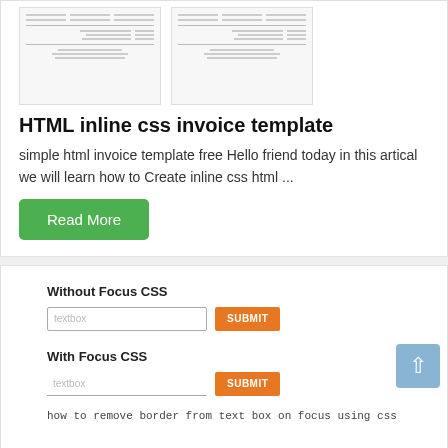[Figure (screenshot): Two invoice template thumbnail images side by side]
HTML inline css invoice template
simple html invoice template free Hello friend today in this artical we will learn how to Create inline css html ...
Read More
[Figure (screenshot): Screenshot showing 'Without Focus CSS' and 'With Focus CSS' input fields with orange SUBMIT buttons, caption reads 'how to remove border from text box on focus using css', S CHAUHAN logo at bottom right]
How to remove focus border (outline) around text/input boxes and button
How to Remove and Style the Border Around Text Input